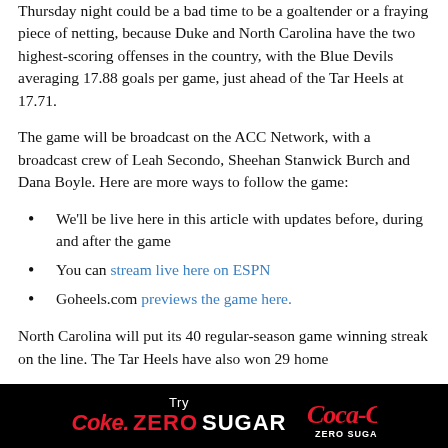Thursday night could be a bad time to be a goaltender or a fraying piece of netting, because Duke and North Carolina have the two highest-scoring offenses in the country, with the Blue Devils averaging 17.88 goals per game, just ahead of the Tar Heels at 17.71.
The game will be broadcast on the ACC Network, with a broadcast crew of Leah Secondo, Sheehan Stanwick Burch and Dana Boyle. Here are more ways to follow the game:
We'll be live here in this article with updates before, during and after the game
You can stream live here on ESPN
Goheels.com previews the game here.
North Carolina will put its 40 regular-season game winning streak on the line. The Tar Heels have also won 29 home
[Figure (other): Coca-Cola Zero Sugar advertisement banner with black background, red 'Coke. ZERO SUGAR' text and Coca-Cola logo]